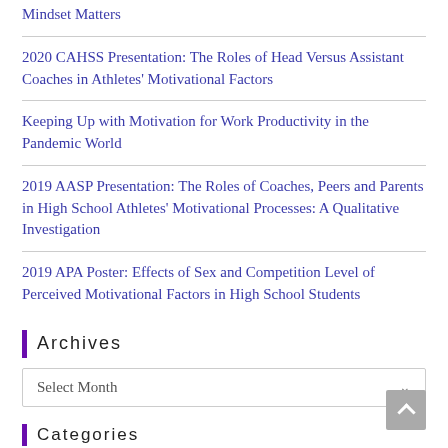Mindset Matters
2020 CAHSS Presentation: The Roles of Head Versus Assistant Coaches in Athletes' Motivational Factors
Keeping Up with Motivation for Work Productivity in the Pandemic World
2019 AASP Presentation: The Roles of Coaches, Peers and Parents in High School Athletes' Motivational Processes: A Qualitative Investigation
2019 APA Poster: Effects of Sex and Competition Level of Perceived Motivational Factors in High School Students
Archives
Select Month
Categories